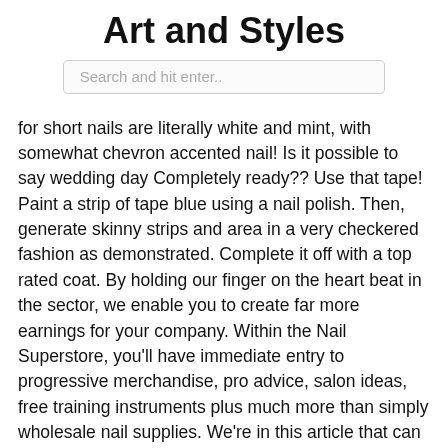Art and Styles
Search and hit enter..
for short nails are literally white and mint, with somewhat chevron accented nail! Is it possible to say wedding day Completely ready?? Use that tape! Paint a strip of tape blue using a nail polish. Then, generate skinny strips and area in a very checkered fashion as demonstrated. Complete it off with a top rated coat. By holding our finger on the heart beat in the sector, we enable you to create far more earnings for your company. Within the Nail Superstore, you'll have immediate entry to progressive merchandise, pro advice, salon ideas, free training instruments plus much more than simply wholesale nail supplies. We're in this article that can assist you develop your enterprise. For anyone who is a athletics supporter or simply wanna impress your bae, these football (soccer) nails are suitable up your alley! The accent nail design just isn't hard to do whatsoever – you simply have to have a nail polish pen to tug it off! These nail designs are especially for short nails so Verify to find out which 1 you like and take a look at to copy them! Pleased portray! We enjoy